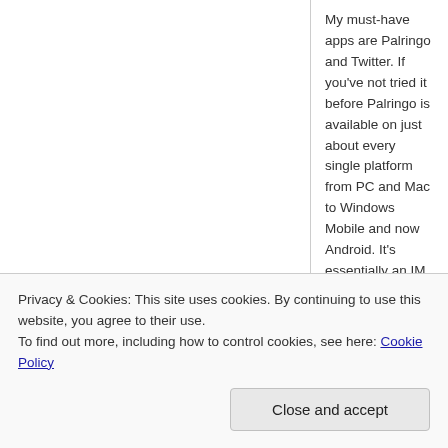My must-have apps are Palringo and Twitter. If you've not tried it before Palringo is available on just about every single platform from PC and Mac to Windows Mobile and now Android. It's essentially an IM application that allows you to have all of your IM account in one place and supports Windows Live Messenger, AOL Instant Messenger, Yahoo! Messenger, Google Talk, ICQ, Jabber, iChat, MobileMe and Facebook Chat. It definitely worth checking out and the best bit is that it's a free application!
As for the TwitterTweet – There are several free Twitter clients for Android that you will find in the Market but this is the one I like best.
Privacy & Cookies: This site uses cookies. By continuing to use this website, you agree to their use.
To find out more, including how to control cookies, see here: Cookie Policy
Close and accept